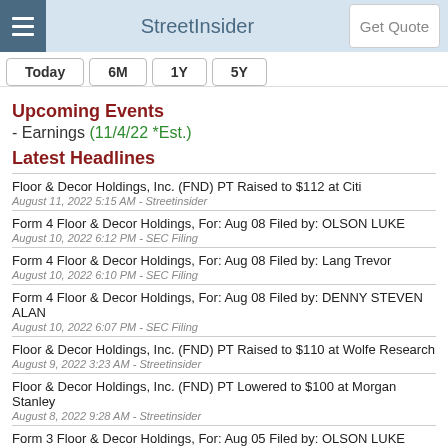StreetInsider
Upcoming Events
- Earnings (11/4/22 *Est.)
Latest Headlines
Floor & Decor Holdings, Inc. (FND) PT Raised to $112 at Citi
August 11, 2022 5:15 AM - Streetinsider
Form 4 Floor & Decor Holdings, For: Aug 08 Filed by: OLSON LUKE
August 10, 2022 6:12 PM - SEC Filing
Form 4 Floor & Decor Holdings, For: Aug 08 Filed by: Lang Trevor
August 10, 2022 6:10 PM - SEC Filing
Form 4 Floor & Decor Holdings, For: Aug 08 Filed by: DENNY STEVEN ALAN
August 10, 2022 6:07 PM - SEC Filing
Floor & Decor Holdings, Inc. (FND) PT Raised to $110 at Wolfe Research
August 9, 2022 3:23 AM - Streetinsider
Floor & Decor Holdings, Inc. (FND) PT Lowered to $100 at Morgan Stanley
August 8, 2022 9:28 AM - Streetinsider
Form 3 Floor & Decor Holdings, For: Aug 05 Filed by: OLSON LUKE
August 5, 2022 5:12 PM - SEC Filing